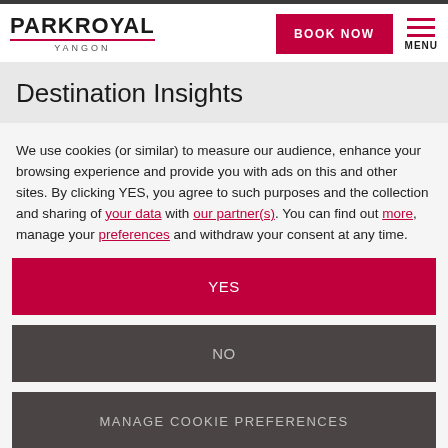PARKROYAL YANGON | BOOK NOW | MENU
Destination Insights
We use cookies (or similar) to measure our audience, enhance your browsing experience and provide you with ads on this and other sites. By clicking YES, you agree to such purposes and the collection and sharing of your data with our partner(s). You can find out more, manage your preferences and withdraw your consent at any time.
YES
NO
MANAGE COOKIE PREFERENCES